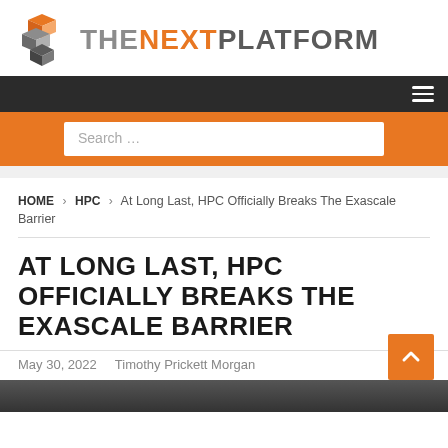[Figure (logo): The Next Platform logo with orange and grey 3D cube icon and text 'THENEXTPLATFORM']
HOME > HPC > At Long Last, HPC Officially Breaks The Exascale Barrier
AT LONG LAST, HPC OFFICIALLY BREAKS THE EXASCALE BARRIER
May 30, 2022    Timothy Prickett Morgan